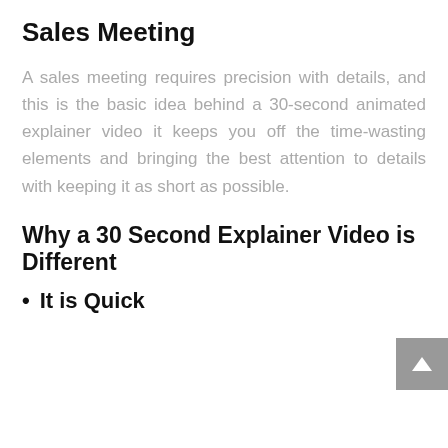Sales Meeting
A sales meeting requires precision with details, and this is the basic idea behind a 30-second animated explainer video it keeps you off the time-wasting elements and bringing the best attention to details with keeping it as short as possible.
Why a 30 Second Explainer Video is Different
It is Quick